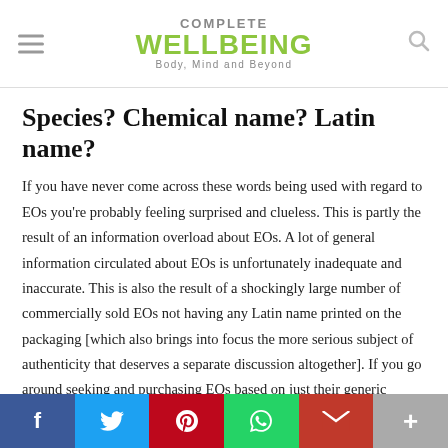COMPLETE WELLBEING — Body, Mind and Beyond
Species? Chemical name? Latin name?
If you have never come across these words being used with regard to EOs you're probably feeling surprised and clueless. This is partly the result of an information overload about EOs. A lot of general information circulated about EOs is unfortunately inadequate and inaccurate. This is also the result of a shockingly large number of commercially sold EOs not having any Latin name printed on the packaging [which also brings into focus the more serious subject of authenticity that deserves a separate discussion altogether]. If you go around seeking and purchasing EOs based on just their generic names, you might be doing yourself a huge disf…